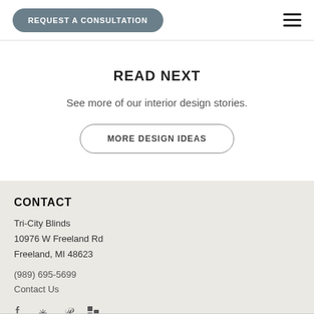REQUEST A CONSULTATION
READ NEXT
See more of our interior design stories.
MORE DESIGN IDEAS
CONTACT
Tri-City Blinds
10976 W Freeland Rd
Freeland, MI 48623
(989) 695-5699
Contact Us
[Figure (other): Social media icons: Facebook, Yelp, Pinterest, Houzz]